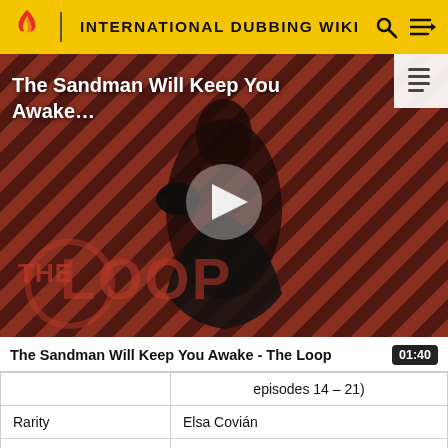INTERNATIONAL DUBBING WIKI
[Figure (screenshot): Video thumbnail showing a dark-cloaked figure against red and black diagonal stripe background with 'THE LOOP' text overlay and a play button in the center. Title text reads 'The Sandman Will Keep You Awake...']
The Sandman Will Keep You Awake - The Loop
01:40
|  | episodes 14 - 21) |
| Rarity | Elsa Covián |
| Rainbow Dash | • Analiz Sánchez |